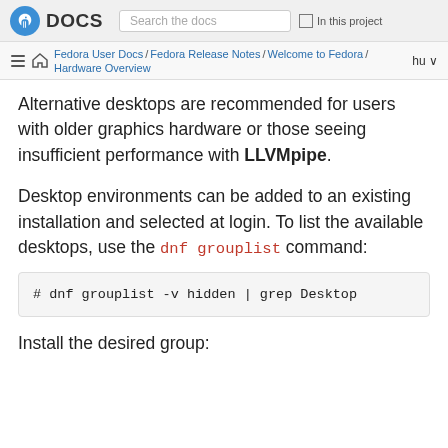Fedora DOCS | Search the docs | In this project
Fedora User Docs / Fedora Release Notes / Welcome to Fedora / Hardware Overview | hu
Alternative desktops are recommended for users with older graphics hardware or those seeing insufficient performance with LLVMpipe.
Desktop environments can be added to an existing installation and selected at login. To list the available desktops, use the dnf grouplist command:
# dnf grouplist -v hidden | grep Desktop
Install the desired group: